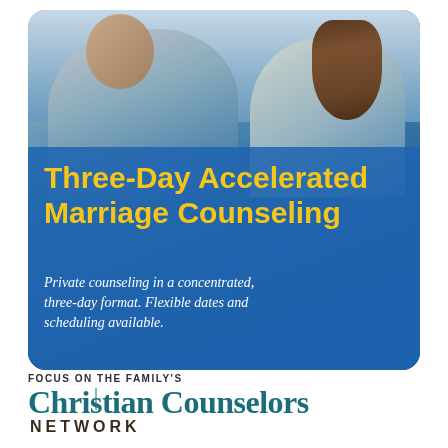[Figure (photo): A couple facing each other near water with a blue overlay, overlaid with text about Three-Day Accelerated Marriage Counseling]
Three-Day Accelerated Marriage Counseling
Private counseling in a concentrated, three-day format. Flexible dates and scheduling available.
FOCUS ON THE FAMILY'S
Christian Counselors NETWORK